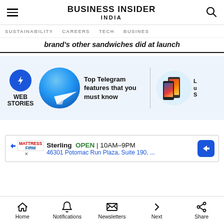BUSINESS INSIDER INDIA
SUSTAINABILITY   CAREERS   TECH   BUSINESS
brand's other sandwiches did at launch
[Figure (screenshot): Web Stories section with lightning bolt icon, Telegram story card showing paper plane icon and text 'Top Telegram features that you must know', and phones image]
[Figure (screenshot): Advertisement banner: Mattress Firm - Sterling OPEN 10AM-9PM, 46301 Potomac Run Plaza, Suite 190, ... with navigation arrow]
Home   Notifications   Newsletters   Next   Share